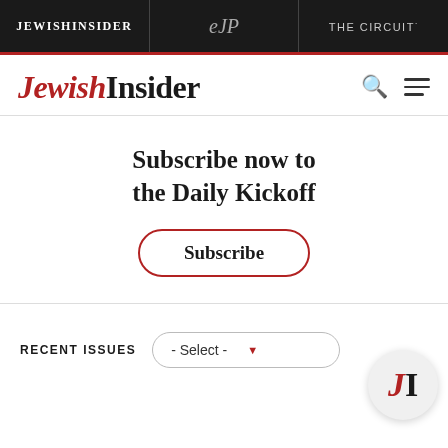JEWISHINSIDER | eJP | THE CIRCUIT·
[Figure (logo): Jewish Insider logo with JEWISH in red italic and INSIDER in black, followed by search and menu icons]
Subscribe now to the Daily Kickoff
Subscribe
RECENT ISSUES - Select -
[Figure (logo): JI circular badge logo with red italic J and black I]